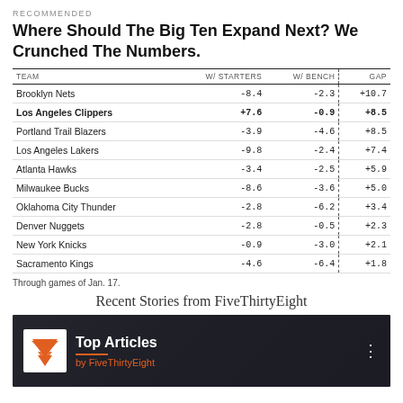RECOMMENDED
Where Should The Big Ten Expand Next? We Crunched The Numbers.
| TEAM | W/ STARTERS | W/ BENCH | GAP |
| --- | --- | --- | --- |
| Brooklyn Nets | -8.4 | -2.3 | +10.7 |
| Los Angeles Clippers | +7.6 | -0.9 | +8.5 |
| Portland Trail Blazers | -3.9 | -4.6 | +8.5 |
| Los Angeles Lakers | -9.8 | -2.4 | +7.4 |
| Atlanta Hawks | -3.4 | -2.5 | +5.9 |
| Milwaukee Bucks | -8.6 | -3.6 | +5.0 |
| Oklahoma City Thunder | -2.8 | -6.2 | +3.4 |
| Denver Nuggets | -2.8 | -0.5 | +2.3 |
| New York Knicks | -0.9 | -3.0 | +2.1 |
| Sacramento Kings | -4.6 | -6.4 | +1.8 |
Through games of Jan. 17.
Recent Stories from FiveThirtyEight
[Figure (other): FiveThirtyEight Top Articles promotional banner with logo on dark background]